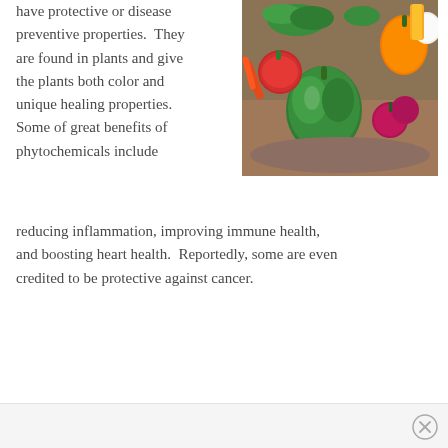have protective or disease preventive properties.  They are found in plants and give the plants both color and unique healing properties.  Some of great benefits of phytochemicals include reducing inflammation, improving immune health, and boosting heart health.  Reportedly, some are even credited to be protective against cancer.
[Figure (photo): A wicker basket filled with colorful fresh vegetables including green bell pepper, red tomatoes, radishes, carrots, garlic, corn, and leafy greens.]